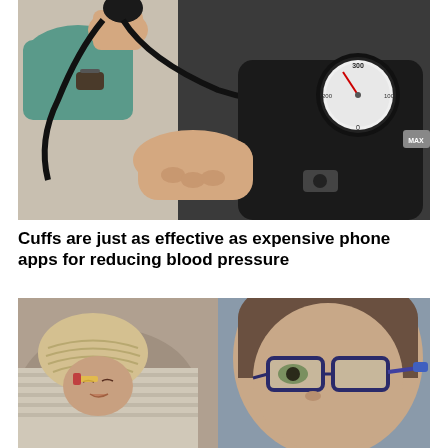[Figure (photo): Close-up photo of a healthcare professional adjusting a blood pressure cuff on a patient's arm, with a sphygmomanometer gauge visible.]
Cuffs are just as effective as expensive phone apps for reducing blood pressure
[Figure (photo): Photo of a woman wearing glasses looking down at a newborn baby wearing a knitted hat in a hospital setting.]